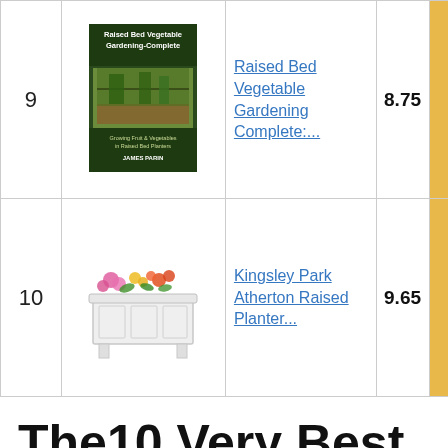| # | Image | Name | Score |  |
| --- | --- | --- | --- | --- |
| 9 | [book image] | Raised Bed Vegetable Gardening Complete:... | 8.75 |  |
| 10 | [planter image] | Kingsley Park Atherton Raised Planter... | 9.65 |  |
The10 Very Best Landscape Planter Box